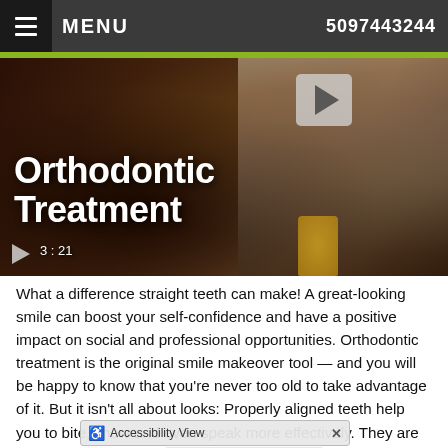MENU   5097443244
[Figure (screenshot): Video thumbnail showing 'Orthodontic Treatment' title text over a blurred restaurant/social scene background. A play button is visible. Duration shows 3:21.]
What a difference straight teeth can make! A great-looking smile can boost your self-confidence and have a positive impact on social and professional opportunities. Orthodontic treatment is the original smile makeover tool — and you will be happy to know that you're never too old to take advantage of it. But it isn't all about looks: Properly aligned teeth help you to bite, chew and even speak more effectively. They are also easier to clean, which helps keep your mouth free of tooth decay and gum disease.